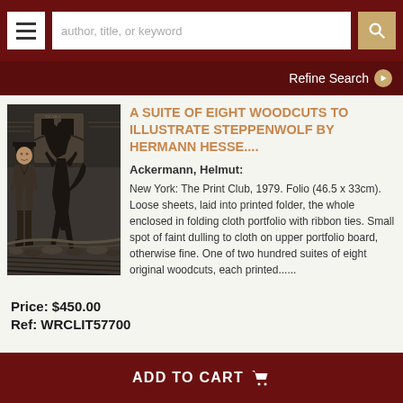[Figure (screenshot): Top navigation bar with hamburger menu, search input, and search icon button on dark red background]
Refine Search
[Figure (illustration): Woodcut print illustration depicting a man in a hat and coat standing next to a black wolf rearing up on its hind legs, in a dark expressionist style]
A SUITE OF EIGHT WOODCUTS TO ILLUSTRATE STEPPENWOLF BY HERMANN HESSE....
Ackermann, Helmut:
New York: The Print Club, 1979. Folio (46.5 x 33cm). Loose sheets, laid into printed folder, the whole enclosed in folding cloth portfolio with ribbon ties. Small spot of faint dulling to cloth on upper portfolio board, otherwise fine. One of two hundred suites of eight original woodcuts, each printed......
Price: $450.00
Ref: WRCLIT57700
ADD TO CART